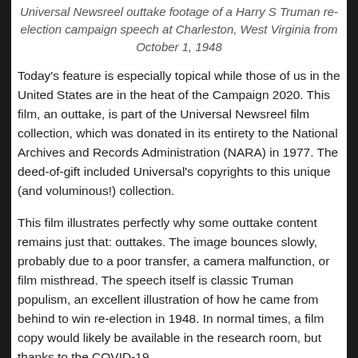Universal Newsreel outtake footage of a Harry S Truman re-election campaign speech at Charleston, West Virginia from October 1, 1948
Today's feature is especially topical while those of us in the United States are in the heat of the Campaign 2020. This film, an outtake, is part of the Universal Newsreel film collection, which was donated in its entirety to the National Archives and Records Administration (NARA) in 1977. The deed-of-gift included Universal's copyrights to this unique (and voluminous!) collection.
This film illustrates perfectly why some outtake content remains just that: outtakes. The image bounces slowly, probably due to a poor transfer, a camera malfunction, or film misthread. The speech itself is classic Truman populism, an excellent illustration of how he came from behind to win re-election in 1948. In normal times, a film copy would likely be available in the research room, but thanks to the COVID-19